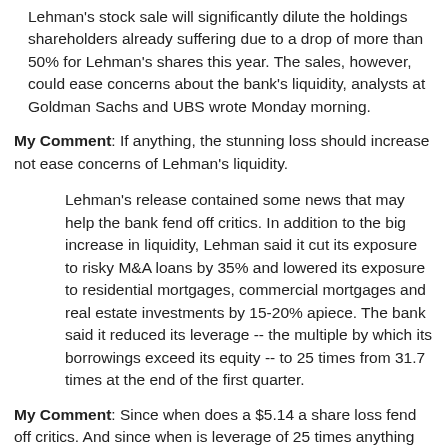Lehman's stock sale will significantly dilute the holdings shareholders already suffering due to a drop of more than 50% for Lehman's shares this year. The sales, however, could ease concerns about the bank's liquidity, analysts at Goldman Sachs and UBS wrote Monday morning.
My Comment: If anything, the stunning loss should increase not ease concerns of Lehman's liquidity.
Lehman's release contained some news that may help the bank fend off critics. In addition to the big increase in liquidity, Lehman said it cut its exposure to risky M&A loans by 35% and lowered its exposure to residential mortgages, commercial mortgages and real estate investments by 15-20% apiece. The bank said it reduced its leverage -- the multiple by which its borrowings exceed its equity -- to 25 times from 31.7 times at the end of the first quarter.
My Comment: Since when does a $5.14 a share loss fend off critics. And since when is leverage of 25 times anything